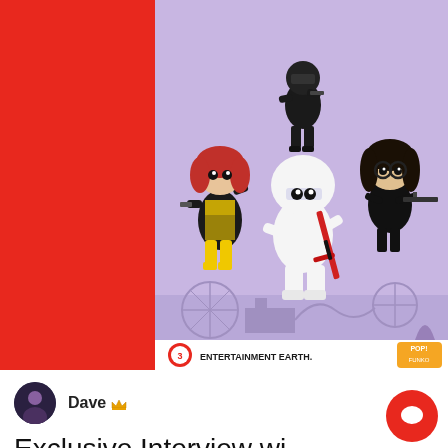[Figure (photo): Promotional image of G.I. Joe Funko Pop vinyl figures on a lavender/purple background with fairground silhouette. Features four figures: a red-haired female figure in yellow and black suit, a black armored figure, a white-clad ninja figure holding a red sword, and a dark-haired female figure with glasses. Entertainment Earth and Funko Pop logos visible at the bottom.]
Dave 👑
Exclusive Interview wi... TV and Film Star Kelli...